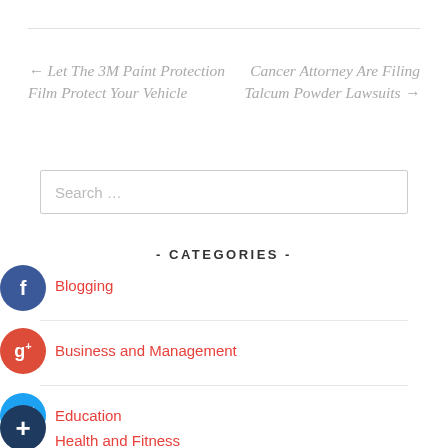← Let The 3M Paint Protection Film Protect Your Vehicle
Cancer Attorney Are Filing Talcum Powder Lawsuits →
Search …
- CATEGORIES -
Blogging
Business and Management
Education
Health and Fitness